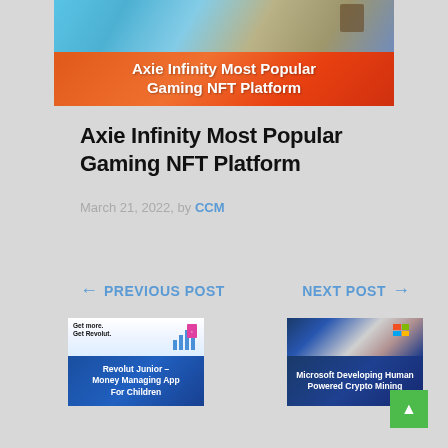[Figure (illustration): Hero image for 'Axie Infinity Most Popular Gaming NFT Platform' article. Top portion shows colorful game artwork on blue background; bottom portion shows orange banner with white bold text reading 'Axie Infinity Most Popular Gaming NFT Platform'.]
Axie Infinity Most Popular Gaming NFT Platform
March 21, 2022, by CCM
← PREVIOUS POST
NEXT POST →
[Figure (screenshot): Thumbnail image for 'Revolut Junior – Money Managing App For Children' article. Shows Revolut website screenshot on top and dark blue banner with white bold text on bottom.]
[Figure (screenshot): Thumbnail image for 'Microsoft Developing Human Powered Crypto Mining' article. Shows dark blue technology image on top and dark blue banner with white bold text on bottom.]